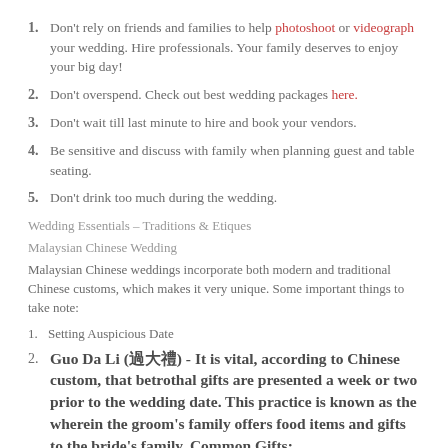Don't rely on friends and families to help photoshoot or videograph your wedding. Hire professionals. Your family deserves to enjoy your big day!
Don't overspend. Check out best wedding packages here.
Don't wait till last minute to hire and book your vendors.
Be sensitive and discuss with family when planning guest and table seating.
Don't drink too much during the wedding.
Wedding Essentials – Traditions & Etiques
Malaysian Chinese Wedding
Malaysian Chinese weddings incorporate both modern and traditional Chinese customs, which makes it very unique. Some important things to take note:
Setting Auspicious Date
Guo Da Li (過大禮) - It is vital, according to Chinese custom, that betrothal gifts are presented a week or two prior to the wedding date. This practice is known as the wherein the groom's family offers food items and gifts to the bride's family. Common Gifts:
Two pairs of candlesticks that come with a dragon motif for the